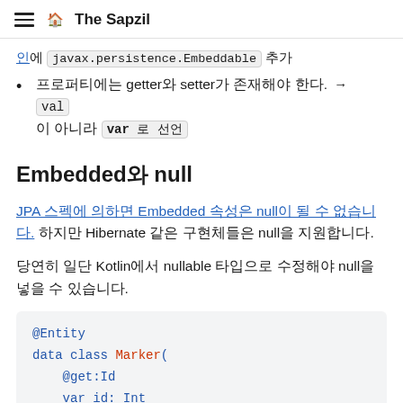The Sapzil
인에 javax.persistence.Embeddable 추가
프로퍼티에는 getter와 setter가 존재해야 한다. → val 이 아니라 var 로 선언
Embedded와 null
JPA 스펙에 의하면 Embedded 속성은 null이 될 수 없습니다. 하지만 Hibernate 같은 구현체들은 null을 지원합니다.
당연히 일단 Kotlin에서 nullable 타입으로 수정해야 null을 넣을 수 있습니다.
[Figure (screenshot): Code block showing @Entity data class Marker( @get:Id var id: Int]